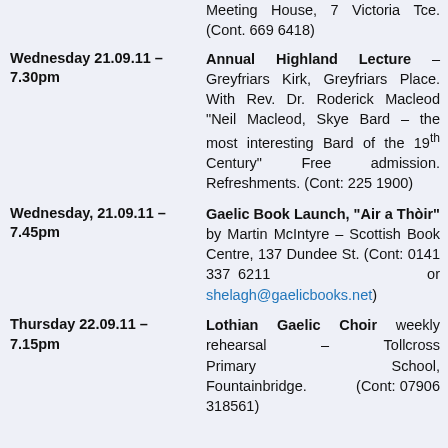Meeting House, 7 Victoria Tce. (Cont. 669 6418)
Wednesday 21.09.11 – 7.30pm | Annual Highland Lecture – Greyfriars Kirk, Greyfriars Place. With Rev. Dr. Roderick Macleod "Neil Macleod, Skye Bard – the most interesting Bard of the 19th Century" Free admission. Refreshments. (Cont: 225 1900)
Wednesday, 21.09.11 – 7.45pm | Gaelic Book Launch, "Air a Thòir" by Martin McIntyre – Scottish Book Centre, 137 Dundee St. (Cont: 0141 337 6211 or shelagh@gaelicbooks.net)
Thursday 22.09.11 – 7.15pm | Lothian Gaelic Choir weekly rehearsal – Tollcross Primary School, Fountainbridge. (Cont: 07906 318561)